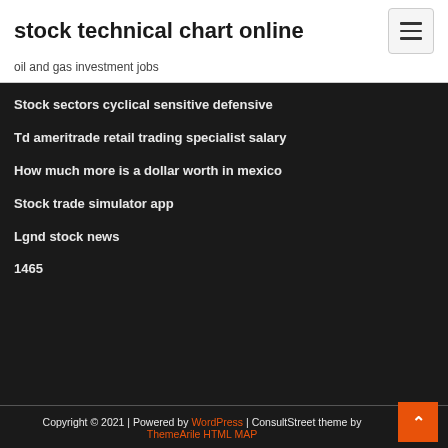stock technical chart online
oil and gas investment jobs
Stock sectors cyclical sensitive defensive
Td ameritrade retail trading specialist salary
How much more is a dollar worth in mexico
Stock trade simulator app
Lgnd stock news
1465
Copyright © 2021 | Powered by WordPress | ConsultStreet theme by ThemeArile HTML MAP